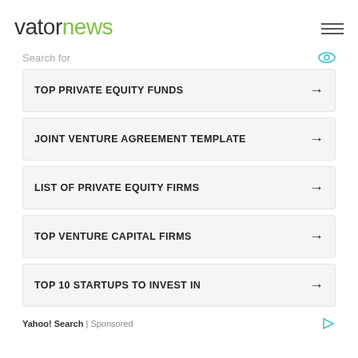vatornews
Search for
TOP PRIVATE EQUITY FUNDS
JOINT VENTURE AGREEMENT TEMPLATE
LIST OF PRIVATE EQUITY FIRMS
TOP VENTURE CAPITAL FIRMS
TOP 10 STARTUPS TO INVEST IN
Yahoo! Search | Sponsored